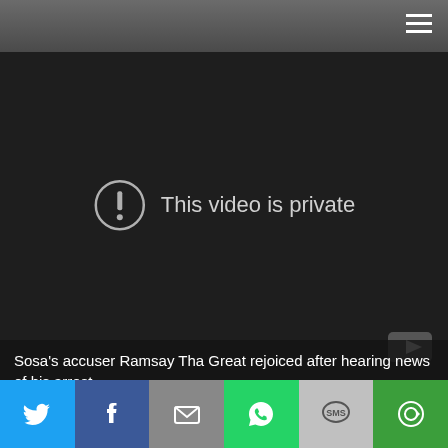Navigation menu
[Figure (screenshot): YouTube video player showing 'This video is private' error message with exclamation circle icon and YouTube logo in bottom right corner. Video area has dark background.]
Sosa's accuser Ramsay Tha Great rejoiced after hearing news of his arrest.
[Figure (infographic): Social sharing bar with six buttons: Twitter (blue bird icon), Facebook (blue f icon), Email (grey envelope icon), WhatsApp (green phone icon), SMS (grey SMS icon), More (green circle arrow icon)]